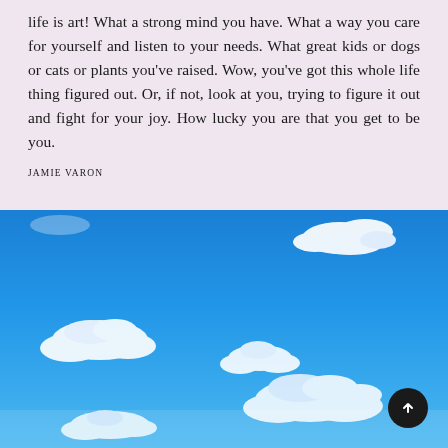life is art! What a strong mind you have. What a way you care for yourself and listen to your needs. What great kids or dogs or cats or plants you've raised. Wow, you've got this whole life thing figured out. Or, if not, look at you, trying to figure it out and fight for your joy. How lucky you are that you get to be you.
JAMIE VARON
[Figure (photo): A bright blue sky with scattered white clouds, photographed from below looking upward.]